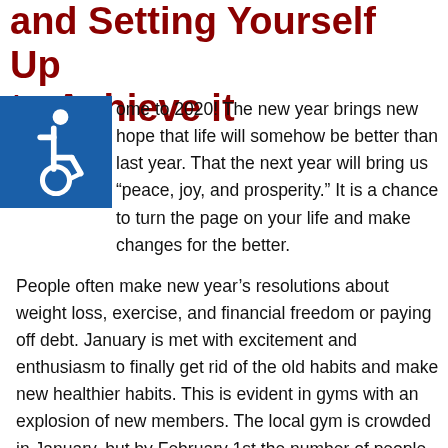and Setting Yourself Up to Achieve it
[Figure (logo): Blue square accessibility/wheelchair icon badge]
Welcome to 2020! The new year brings new hope that life will somehow be better than last year. That the next year will bring us “peace, joy, and prosperity.” It is a chance to turn the page on your life and make changes for the better.
People often make new year’s resolutions about weight loss, exercise, and financial freedom or paying off debt. January is met with excitement and enthusiasm to finally get rid of the old habits and make new healthier habits. This is evident in gyms with an explosion of new members. The local gym is crowded in January, but by February 1st the number of people still going is cut by half. So why can’t these people stick with the resolutions they were just so excited about a few weeks ago? I believe it is that the pain of where they are outweighs the pain of making a change...